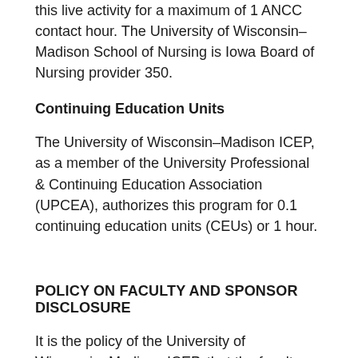this live activity for a maximum of 1 ANCC contact hour. The University of Wisconsin–Madison School of Nursing is Iowa Board of Nursing provider 350.
Continuing Education Units
The University of Wisconsin–Madison ICEP, as a member of the University Professional & Continuing Education Association (UPCEA), authorizes this program for 0.1 continuing education units (CEUs) or 1 hour.
POLICY ON FACULTY AND SPONSOR DISCLOSURE
It is the policy of the University of Wisconsin–Madison ICEP, that the faculty, authors, planners, and other persons who may influence content of this CE activity disclose all relevant financial relationships with commercial interests in order to allow CE staff to identify and resolve any potential conflicts of interest